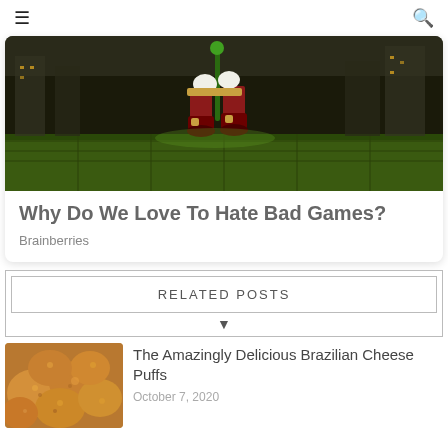≡  🔍
[Figure (screenshot): Animated screenshot showing a game character (robot/mech legs) standing on a rooftop with a green-lit city background]
Why Do We Love To Hate Bad Games?
Brainberries
RELATED POSTS
[Figure (photo): Close-up photo of Brazilian cheese puffs (pão de queijo) — golden baked cheese balls]
The Amazingly Delicious Brazilian Cheese Puffs
October 7, 2020